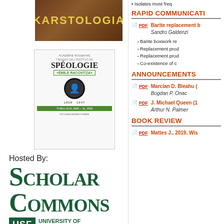[Figure (photo): Karstologia journal cover - brown/earth toned image with white bold italic text 'KARSTOLOGIA']
[Figure (photo): Travaux de l'Institut de Spéologie Émile Racovitza book cover with portrait of a man, years 1868-1947, green striped bar]
Hosted By:
[Figure (logo): Scholar Commons logo with large green SC letters and USF University of South Florida bar]
Isolates most freq
RAPID COMMUNICATI
Barite replacement b
Sandro Galdenzi
Barite boxwork re
Replacement prod
Replacement prod
Co-existence of c
ANNOUNCEMENTS
Marcian D. Bleahu (
Bogdan P. Onac
J. Michael Queen (1
Arthur N. Palmer
BOOK REVIEW
Mattes J., 2019, Wis